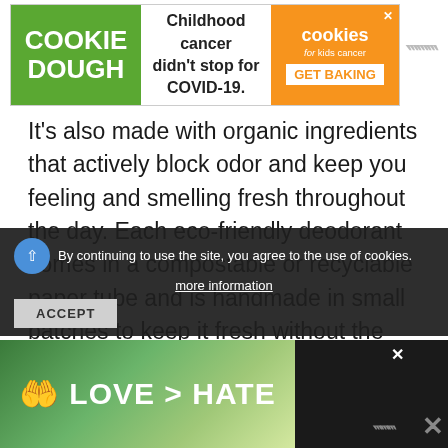[Figure (other): Cookie Dough advertisement banner: green section with 'COOKIE DOUGH' text, middle white section with 'Childhood cancer didn't stop for COVID-19.', orange section with 'cookies for kids cancer GET BAKING' logo and close button. W logo on right.]
It's also made with organic ingredients that actively block odor and keep you feeling and smelling fresh throughout the day. Each eco-friendly deodorant comes in a compostable or recyclable paper tube and is handmade in small batches to keep it fresh without the need for preservatives.
If you're sensitive to scents, you can choose the unscented variety. Or, if you don't mind a light fragrance, you can choose from wonderful scents that i... der and peppermint, eucalyptus a...
[Figure (other): Cookie consent overlay bar: dark background, share icon, text 'By continuing to use the site, you agree to the use of cookies. more information', and ACCEPT button.]
[Figure (other): Bottom advertisement banner with nature background, hands forming heart shape, text 'LOVE > HATE', close X button, and W logo.]